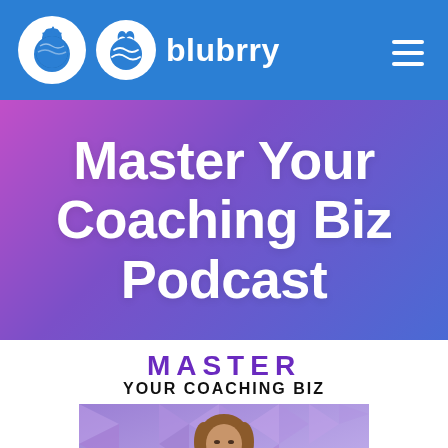blubrry
Master Your Coaching Biz Podcast
[Figure (other): Podcast cover art showing 'MASTER YOUR COACHING BIZ' text with a woman's photo against a geometric purple background]